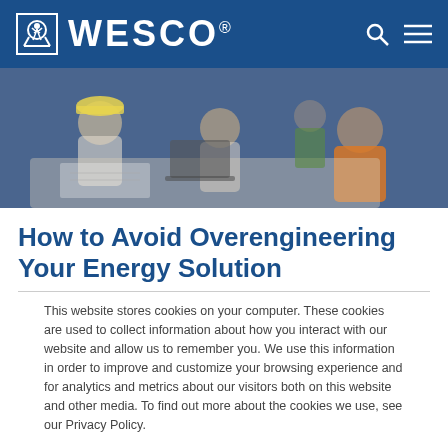WESCO®
[Figure (photo): Workers in hard hats and high-visibility vests sitting around a table reviewing plans, with laptops visible.]
How to Avoid Overengineering Your Energy Solution
This website stores cookies on your computer. These cookies are used to collect information about how you interact with our website and allow us to remember you. We use this information in order to improve and customize your browsing experience and for analytics and metrics about our visitors both on this website and other media. To find out more about the cookies we use, see our Privacy Policy.
Accept
Decline